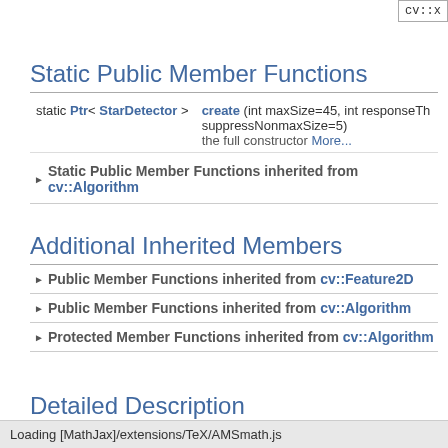cv::x
Static Public Member Functions
| Type | Function |
| --- | --- |
| static Ptr< StarDetector > | create (int maxSize=45, int responseThreshold=30, int lineThresholdProjected=10, int lineThresholdBinarized=8, int suppressNonmaxSize=5)
the full constructor More... |
Static Public Member Functions inherited from cv::Algorithm
Additional Inherited Members
Public Member Functions inherited from cv::Feature2D
Public Member Functions inherited from cv::Algorithm
Protected Member Functions inherited from cv::Algorithm
Detailed Description
The class implements the keypoint detector introduced by [2], synonym
Loading [MathJax]/extensions/TeX/AMSmath.js